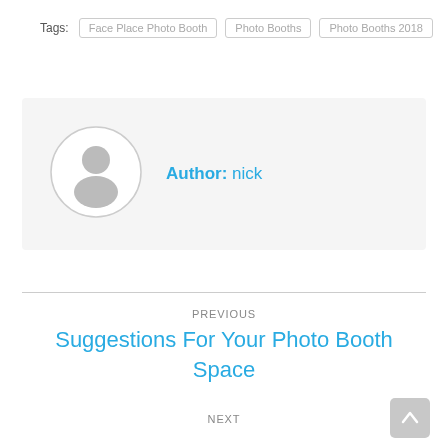Tags:  Face Place Photo Booth  Photo Booths  Photo Booths 2018
[Figure (illustration): Author avatar placeholder with generic person silhouette icon inside a circle, next to 'Author: nick' text in blue]
Author: nick
PREVIOUS
Suggestions For Your Photo Booth Space
NEXT